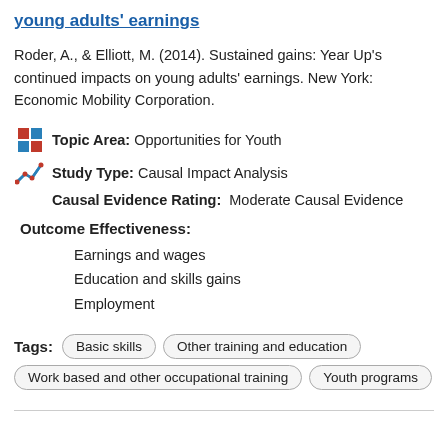young adults' earnings
Roder, A., & Elliott, M. (2014). Sustained gains: Year Up's continued impacts on young adults' earnings. New York: Economic Mobility Corporation.
Topic Area: Opportunities for Youth
Study Type: Causal Impact Analysis
Causal Evidence Rating: Moderate Causal Evidence
Outcome Effectiveness:
Earnings and wages
Education and skills gains
Employment
Tags: Basic skills | Other training and education | Work based and other occupational training | Youth programs